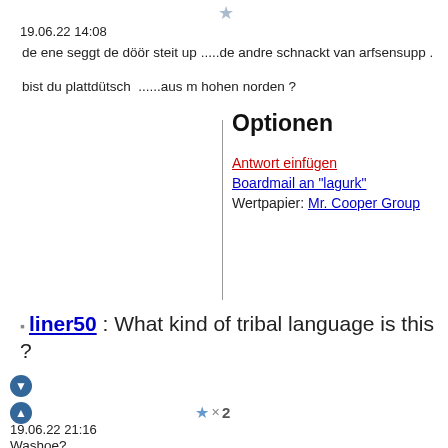19.06.22 14:08
de ene seggt de döör steit up .....de andre schnackt van arfsensupp .
bist du plattdütsch  ......aus m hohen norden ?
Optionen
Antwort einfügen
Boardmail an "lagurk"
Wertpapier: Mr. Cooper Group
liner50 : What kind of tribal language is this ?
19.06.22 21:16
Washoe?